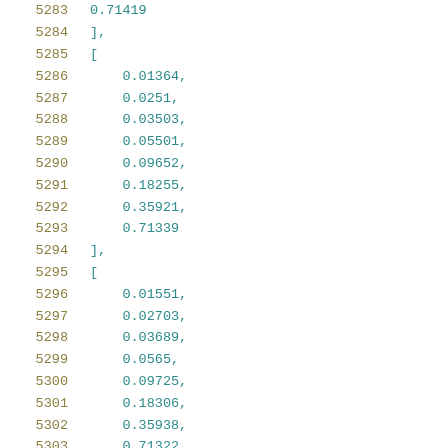5283    0.71419
5284    ],
5285    [
5286        0.01364,
5287        0.0251,
5288        0.03503,
5289        0.05501,
5290        0.09652,
5291        0.18255,
5292        0.35921,
5293        0.71339
5294    ],
5295    [
5296        0.01551,
5297        0.02703,
5298        0.03689,
5299        0.0565,
5300        0.09725,
5301        0.18306,
5302        0.35938,
5303        0.71322